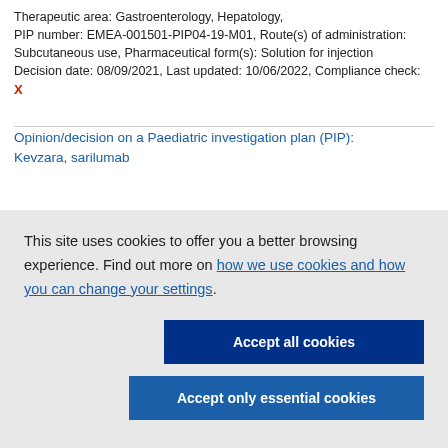Therapeutic area: Gastroenterology, Hepatology, PIP number: EMEA-001501-PIP04-19-M01, Route(s) of administration: Subcutaneous use, Pharmaceutical form(s): Solution for injection Decision date: 08/09/2021, Last updated: 10/06/2022, Compliance check: X
Opinion/decision on a Paediatric investigation plan (PIP): Kevzara, sarilumab
This site uses cookies to offer you a better browsing experience. Find out more on how we use cookies and how you can change your settings.
Accept all cookies
Accept only essential cookies